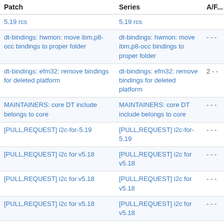| Patch | Series | A/F... |
| --- | --- | --- |
| 5.19 rcs | 5.19 rcs |  |
| dt-bindings: hwmon: move ibm,p8-occ bindings to proper folder | dt-bindings: hwmon: move ibm,p8-occ bindings to proper folder | - - - |
| dt-bindings: efm32: remove bindings for deleted platform | dt-bindings: efm32: remove bindings for deleted platform | 2 - - |
| MAINTAINERS: core DT include belongs to core | MAINTAINERS: core DT include belongs to core | - - - |
| [PULL,REQUEST] i2c-for-5.19 | [PULL,REQUEST] i2c-for-5.19 | - - - |
| [PULL,REQUEST] i2c for v5.18 | [PULL,REQUEST] i2c for v5.18 | - - - |
| [PULL,REQUEST] i2c for v5.18 | [PULL,REQUEST] i2c for v5.18 | - - - |
| [PULL,REQUEST] i2c for v5.18 | [PULL,REQUEST] i2c for v5.18 | - - - |
| [PULL,REQUEST] i2c for v5.17 | [PULL,REQUEST] i2c for v5.17 | - - - |
| MAINTAINERS: remove duplicate entry for i2c-qcom-geni | MAINTAINERS: remove duplicate entry for i2c-qcom-geni | 1 - - |